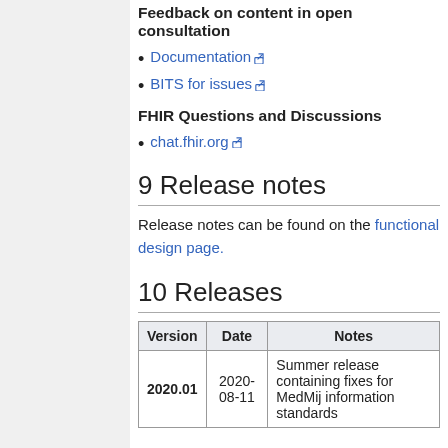Feedback on content in open consultation
Documentation
BITS for issues
FHIR Questions and Discussions
chat.fhir.org
9 Release notes
Release notes can be found on the functional design page.
10 Releases
| Version | Date | Notes |
| --- | --- | --- |
| 2020.01 | 2020-08-11 | Summer release containing fixes for MedMij information standards |